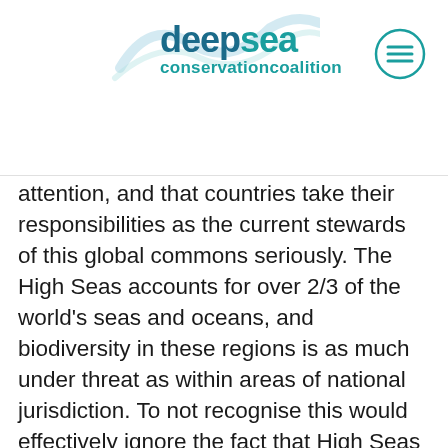deepsea conservation coalition
attention, and that countries take their responsibilities as the current stewards of this global commons seriously. The High Seas accounts for over 2/3 of the world's seas and oceans, and biodiversity in these regions is as much under threat as within areas of national jurisdiction. To not recognise this would effectively ignore the fact that High Seas marine areas make up an integral part of the world's oceans and that as a recognised part of the global commons, require comprehensive joint